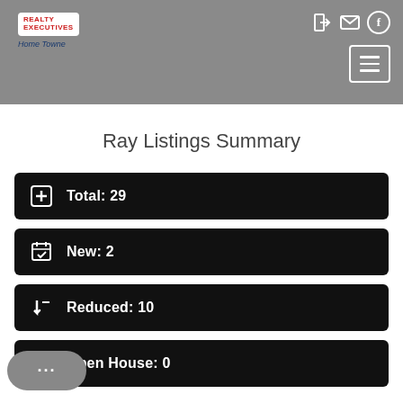Realty Executives Home Towne — navigation header
Ray Listings Summary
Total: 29
New: 2
Reduced: 10
Open House: 0